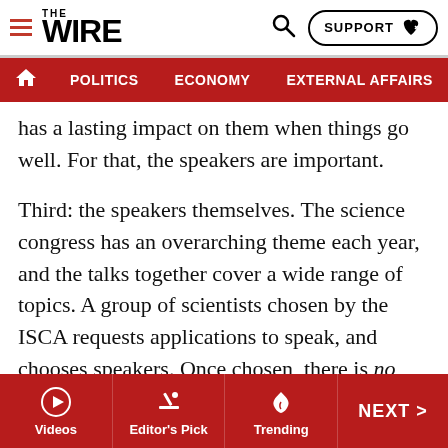THE WIRE — POLITICS | ECONOMY | EXTERNAL AFFAIRS | SECU…
has a lasting impact on them when things go well. For that, the speakers are important.
Third: the speakers themselves. The science congress has an overarching theme each year, and the talks together cover a wide range of topics. A group of scientists chosen by the ISCA requests applications to speak, and chooses speakers. Once chosen, there is no censorship.
Only a few of our best scholars go to the science congress. The crowds, the chaos, the diverse audience (whom does one talk to: The experts, school students or the college students?) seem to put off many others. This is a pity: the congress these days is organised better than it was in the
Videos | Editor's Pick | Trending | NEXT >